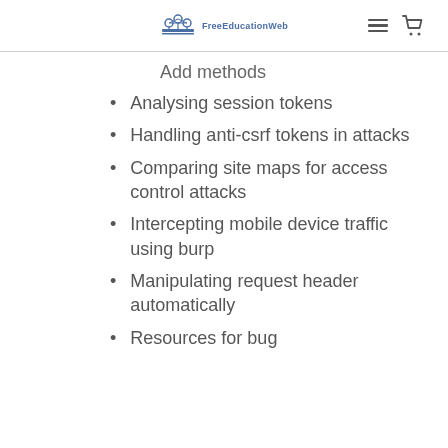FreeEducationWeb
Add methods
Analysing session tokens
Handling anti-csrf tokens in attacks
Comparing site maps for access control attacks
Intercepting mobile device traffic using burp
Manipulating request header automatically
Resources for bug